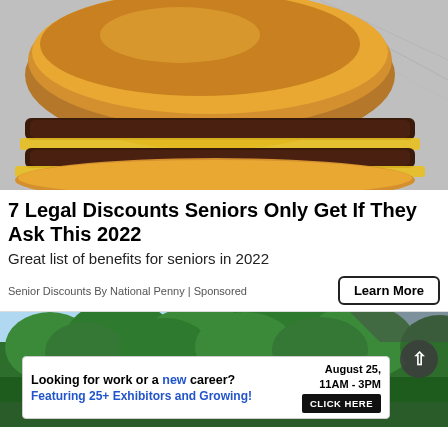[Figure (photo): Close-up photo of a double cheeseburger with two beef patties and melted cheese on a bun, resting on foil wrapping]
7 Legal Discounts Seniors Only Get If They Ask This 2022
Great list of benefits for seniors in 2022
Senior Discounts By National Penny | Sponsored
Learn More
[Figure (photo): Outdoor scene with green trees and sky in the background, serving as background for a job fair advertisement banner]
Looking for work or a new career? Featuring 25+ Exhibitors and Growing! August 25, 11AM - 3PM CLICK HERE